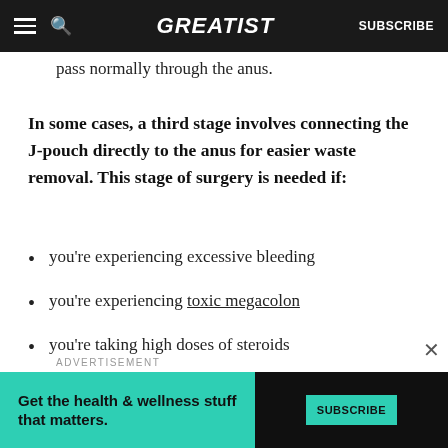GREATIST | SUBSCRIBE
pass normally through the anus.
In some cases, a third stage involves connecting the J-pouch directly to the anus for easier waste removal. This stage of surgery is needed if:
you're experiencing excessive bleeding
you're experiencing toxic megacolon
you're taking high doses of steroids
you're in poor health
ADVERTISEMENT
[Figure (other): Advertisement banner: Get the health & wellness stuff that matters. Subscribe button on dark background with teal/green accent.]